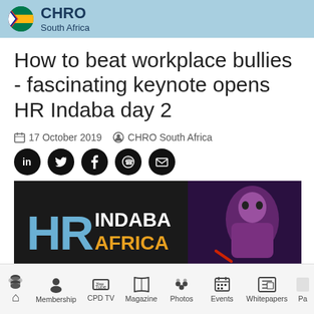CHRO South Africa
How to beat workplace bullies - fascinating keynote opens HR Indaba day 2
17 October 2019   CHRO South Africa
[Figure (photo): Woman in red presenting on stage at HR Indaba Africa event, with a large screen showing a face behind her]
Membership  CPD TV  Magazine  Photos  Events  Whitepapers  Pa...